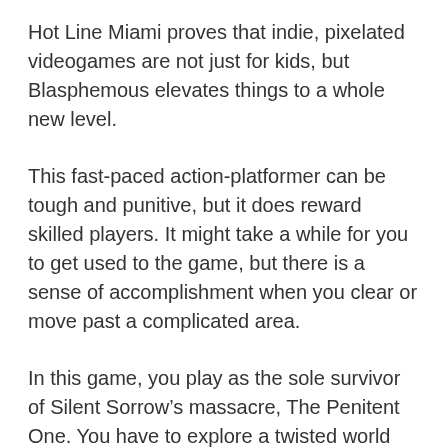Hot Line Miami proves that indie, pixelated videogames are not just for kids, but Blasphemous elevates things to a whole new level.
This fast-paced action-platformer can be tough and punitive, but it does reward skilled players. It might take a while for you to get used to the game, but there is a sense of accomplishment when you clear or move past a complicated area.
In this game, you play as the sole survivor of Silent Sorrow’s massacre, The Penitent One. You have to explore a twisted world while trapped in an Endless Cycle of death and rebirth to save the world from the upcoming doom.
This is a game with brutal combat, supernatural abilities...